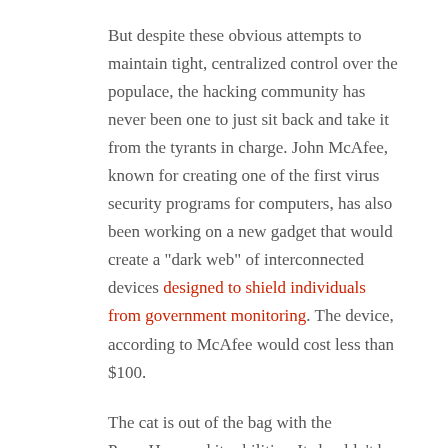But despite these obvious attempts to maintain tight, centralized control over the populace, the hacking community has never been one to just sit back and take it from the tyrants in charge. John McAfee, known for creating one of the first virus security programs for computers, has also been working on a new gadget that would create a "dark web" of interconnected devices designed to shield individuals from government monitoring. The device, according to McAfee would cost less than $100.
The cat is out of the bag with the ProxyHam and its abilities. It shouldn't be long before source codes and blueprints for similar gadgets begin appearing on the open market.